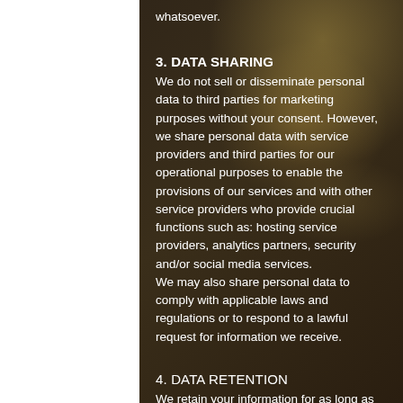whatsoever.
3. DATA SHARING
We do not sell or disseminate personal data to third parties for marketing purposes without your consent. However, we share personal data with service providers and third parties for our operational purposes to enable the provisions of our services and with other service providers who provide crucial functions such as: hosting service providers, analytics partners, security and/or social media services.
We may also share personal data to comply with applicable laws and regulations or to respond to a lawful request for information we receive.
4. DATA RETENTION
We retain your information for as long as necessary with applicable law. Generally